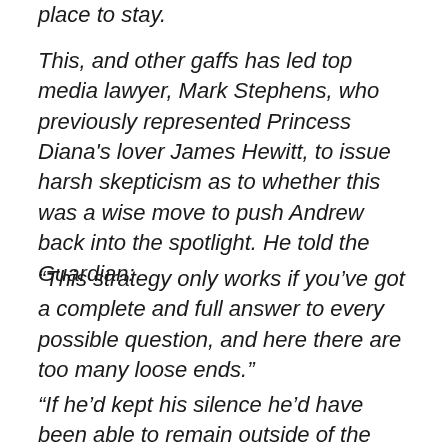place to stay.
This, and other gaffs has led top media lawyer, Mark Stephens, who previously represented Princess Diana's lover James Hewitt, to issue harsh skepticism as to whether this was a wise move to push Andrew back into the spotlight. He told the Guardian:
“This strategy only works if you’ve got a complete and full answer to every possible question, and here there are too many loose ends.”
“If he’d kept his silence he’d have been able to remain outside of the case, as